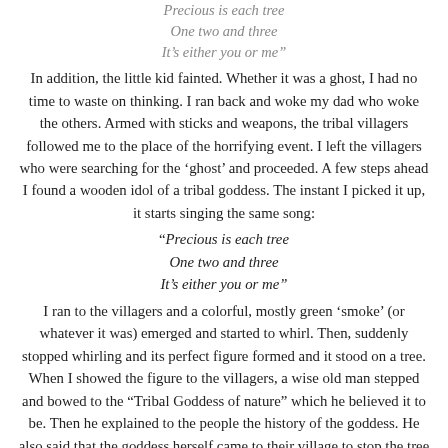Precious is each tree
One two and three
It's either you or me"
In addition, the little kid fainted. Whether it was a ghost, I had no time to waste on thinking. I ran back and woke my dad who woke the others. Armed with sticks and weapons, the tribal villagers followed me to the place of the horrifying event. I left the villagers who were searching for the 'ghost' and proceeded. A few steps ahead I found a wooden idol of a tribal goddess. The instant I picked it up, it starts singing the same song:
"Precious is each tree
One two and three
It's either you or me"
I ran to the villagers and a colorful, mostly green 'smoke' (or whatever it was) emerged and started to whirl. Then, suddenly stopped whirling and its perfect figure formed and it stood on a tree. When I showed the figure to the villagers, a wise old man stepped and bowed to the "Tribal Goddess of nature" which he believed it to be. Then he explained to the people the history of the goddess. He also said that the goddess herself came to their village to stop the tree rituals and sacrifices, and she was an ancient goddess believed to protect the trees. If they stopped these